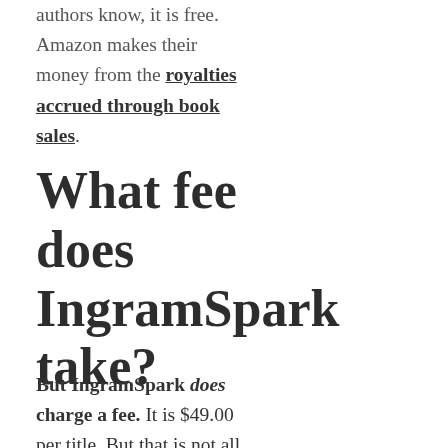authors know, it is free. Amazon makes their money from the royalties accrued through book sales.
What fee does IngramSpark take?
But IngramSpark does charge a fee. It is $49.00 per title. But that is not all.